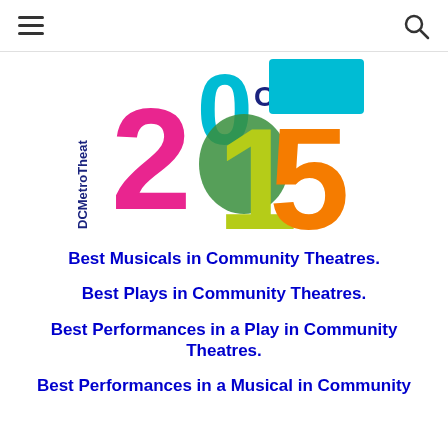Navigation header with hamburger menu and search icon
[Figure (logo): DC Metro Theater Arts 2015 'Best of' logo — colorful large numerals '20' with 'of' text and '15' in green and orange, with 'DCMetroTheat' text vertically on the left side]
Best Musicals in Community Theatres.
Best Plays in Community Theatres.
Best Performances in a Play in Community Theatres.
Best Performances in a Musical in Community